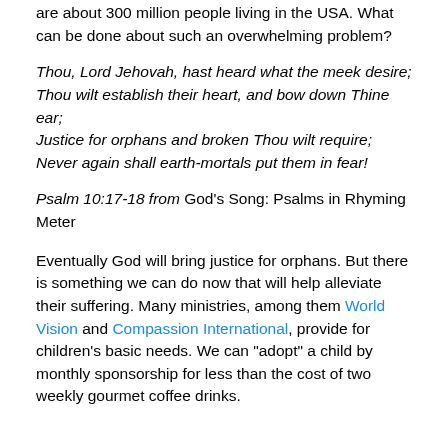are about 300 million people living in the USA. What can be done about such an overwhelming problem?
Thou, Lord Jehovah, hast heard what the meek desire; Thou wilt establish their heart, and bow down Thine ear; Justice for orphans and broken Thou wilt require; Never again shall earth-mortals put them in fear!
Psalm 10:17-18 from God’s Song: Psalms in Rhyming Meter
Eventually God will bring justice for orphans. But there is something we can do now that will help alleviate their suffering. Many ministries, among them World Vision and Compassion International, provide for children’s basic needs. We can “adopt” a child by monthly sponsorship for less than the cost of two weekly gourmet coffee drinks.